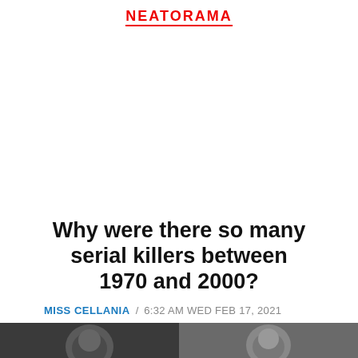NEATORAMA
Why were there so many serial killers between 1970 and 2000?
MISS CELLANIA / 6:32 AM WED FEB 17, 2021
[Figure (photo): Two black and white photographs of individuals, forming a banner image for the article about serial killers between 1970 and 2000.]